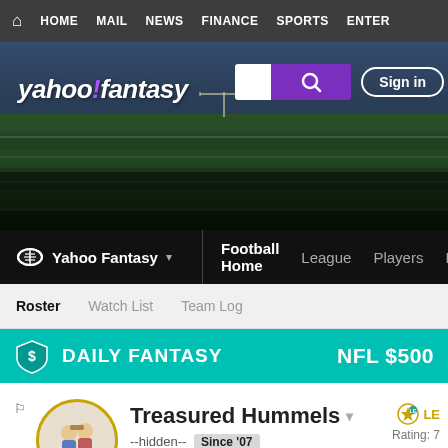HOME  MAIL  NEWS  FINANCE  SPORTS  ENTER
[Figure (screenshot): Yahoo Fantasy Football hero banner with football field background, Yahoo! fantasy logo, search box, and Sign in button]
Yahoo Fantasy  Football Home  League  Players  Draft
Roster  Watch List  Team Log
DAILY FANTASY  NFL $500
Treasured Hummels
--hidden--  Since '07
Rating: 7